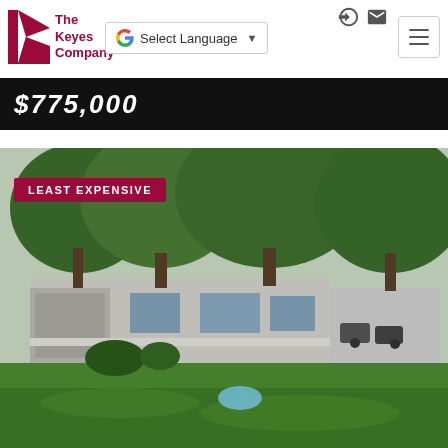The Keyes Company
$775,000
[Figure (photo): Exterior photo of a single-story residential home with large trees in front, green lawn, and a white fence. A label reads LEAST EXPENSIVE in the upper left corner.]